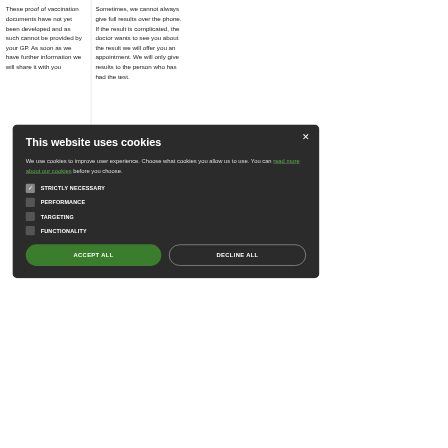These proof of vaccination documents have not yet been developed and as such cannot be provided by your GP. As soon as we have further information we will share it with you
Sometimes, we cannot always give results over the phone. If the result is complicated, the doctor wants to see you about the result we will offer you an appointment. We will only give results to the person who has had the test.
This website uses cookies
We use cookies to improve user experience. Choose what cookies you allow us to use. You can read more about our cookies before you choose.
STRICTLY NECESSARY
PERFORMANCE
TARGETING
FUNCTIONALITY
ACCEPT ALL
DECLINE ALL